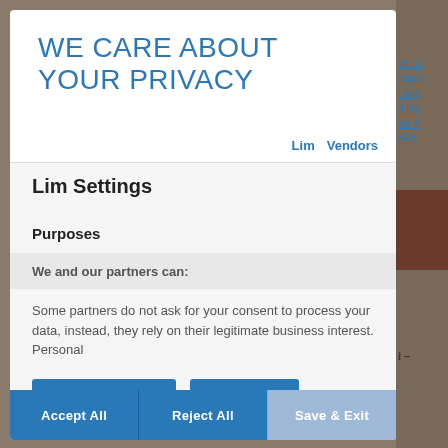WE CARE ABOUT YOUR PRIVACY
Lim   Vendors
Lim Settings
Purposes
We and our partners can:
Some partners do not ask for your consent to process your data, instead, they rely on their legitimate business interest. Personal
Manage Settings
Vendors
Accept All
Reject All
Save & Exit